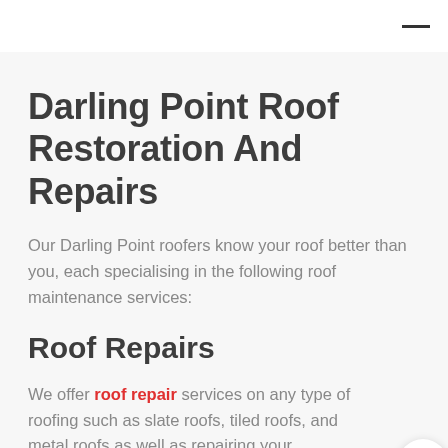Darling Point Roof Restoration And Repairs
Our Darling Point roofers know your roof better than you, each specialising in the following roof maintenance services:
Roof Repairs
We offer roof repair services on any type of roofing such as slate roofs, tiled roofs, and metal roofs as well as repairing your